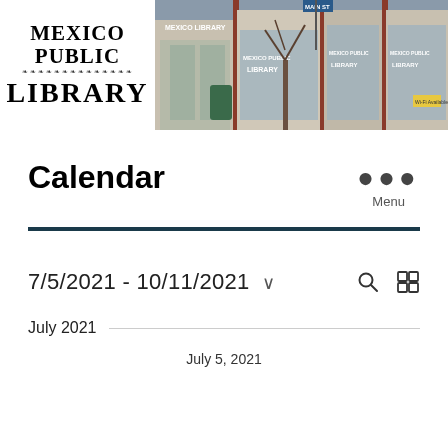[Figure (photo): Mexico Public Library banner with logo on left and photo of library building exterior on right showing storefront with 'MEXICO PUBLIC LIBRARY' signage and 'MAIN ST' street sign]
Calendar
Menu
7/5/2021 - 10/11/2021
July 2021
July 5, 2021